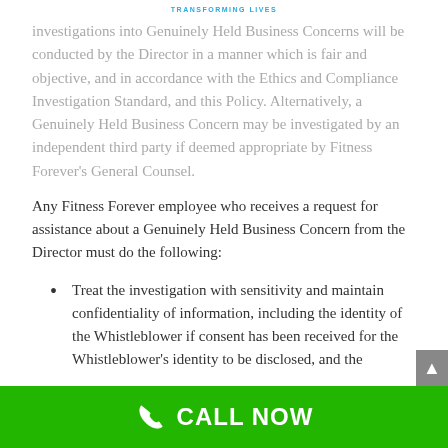TRANSFORMING LIVES
investigations into Genuinely Held Business Concerns will be conducted by the Director in a manner which is fair and objective, and in accordance with the Ethics and Compliance Investigation Standard, and this Policy. Alternatively, a Genuinely Held Business Concern may be investigated by an independent third party if deemed appropriate by Fitness Forever’s General Counsel.
Any Fitness Forever employee who receives a request for assistance about a Genuinely Held Business Concern from the Director must do the following:
Treat the investigation with sensitivity and maintain confidentiality of information, including the identity of the Whistleblower if consent has been received for the Whistleblower’s identity to be disclosed, and the identity of any other person involved in the investigation...